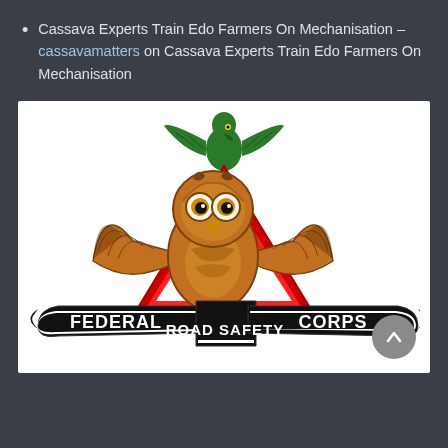Cassava Experts Train Edo Farmers On Mechanisation – cassavamatters on Cassava Experts Train Edo Farmers On Mechanisation
[Figure (logo): Federal Road Safety Corps (FRSC) logo: an eagle (Nigerian coat of arms) at top in green, a red warning triangle in the center, an owl with spread wings overlaid on the triangle, and a banner ribbon reading 'FEDERAL ROAD SAFETY CORPS' in black and white.]